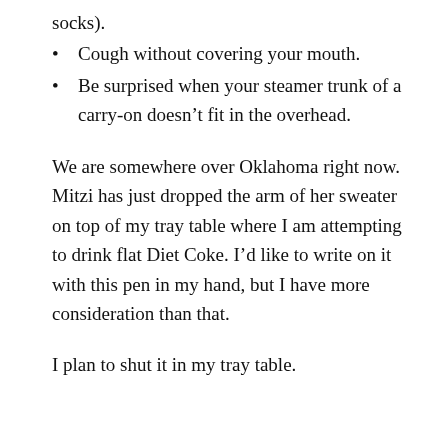socks).
Cough without covering your mouth.
Be surprised when your steamer trunk of a carry-on doesn’t fit in the overhead.
We are somewhere over Oklahoma right now. Mitzi has just dropped the arm of her sweater on top of my tray table where I am attempting to drink flat Diet Coke. I’d like to write on it with this pen in my hand, but I have more consideration than that.
I plan to shut it in my tray table.